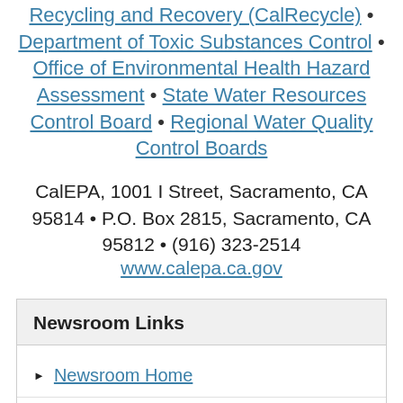Recycling and Recovery (CalRecycle) • Department of Toxic Substances Control • Office of Environmental Health Hazard Assessment • State Water Resources Control Board • Regional Water Quality Control Boards
CalEPA, 1001 I Street, Sacramento, CA 95814 • P.O. Box 2815, Sacramento, CA 95812 • (916) 323-2514 www.calepa.ca.gov
Newsroom Links
Newsroom Home
News Releases
Subscribe to News Releases